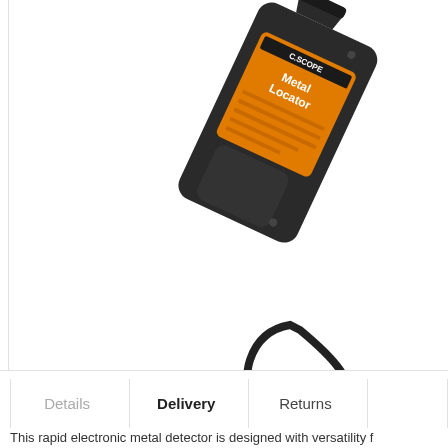[Figure (photo): C.Scope Metal Locator handheld metal detector device, black body with orange label, shown at an angle with wrist strap cord visible below]
Details
Delivery
Returns
This rapid electronic metal detector is designed with versatility f